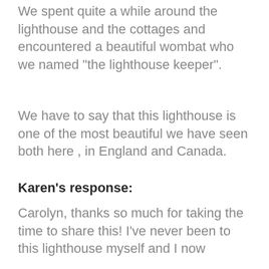We spent quite a while around the lighthouse and the cottages and encountered a beautiful wombat who we named "the lighthouse keeper".
We have to say that this lighthouse is one of the most beautiful we have seen both here , in England and Canada.
Karen's response:
Carolyn, thanks so much for taking the time to share this! I've never been to this lighthouse myself and I now